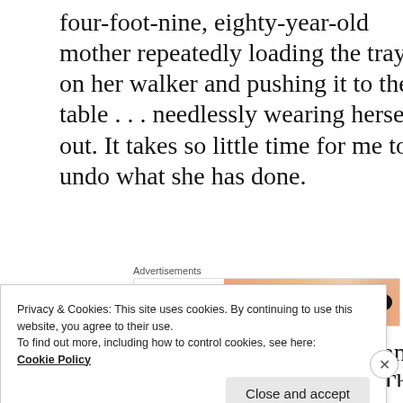four-foot-nine, eighty-year-old mother repeatedly loading the tray on her walker and pushing it to the table . . . needlessly wearing herself out. It takes so little time for me to undo what she has done.
[Figure (screenshot): Advertisement banner with Ovin logo on white left side and gradient orange/peach right side with 'Learn more →' button]
I stroll through the sitting room and quietly open the bedroom door. The scent
Privacy & Cookies: This site uses cookies. By continuing to use this website, you agree to their use.
To find out more, including how to control cookies, see here:
Cookie Policy
Close and accept